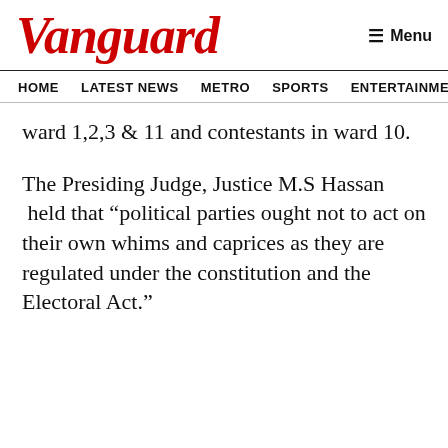Vanguard
HOME LATEST NEWS METRO SPORTS ENTERTAINMENT VIDEOS
ward 1,2,3 & 11 and contestants in ward 10.
The Presiding Judge, Justice M.S Hassan  held that “political parties ought not to act on their own whims and caprices as they are regulated under the constitution and the Electoral Act.”